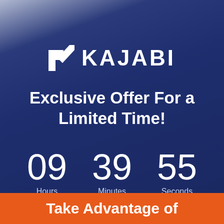[Figure (logo): Kajabi logo: white arrow/triangle icon followed by the text KAJABI in bold white uppercase letters]
Exclusive Offer For a Limited Time!
09 Hours   39 Minutes   55 Seconds
Take Advantage of